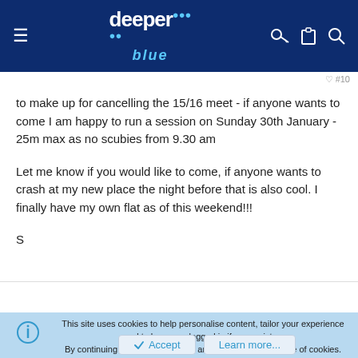deeper blue
to make up for cancelling the 15/16 meet - if anyone wants to come I am happy to run a session on Sunday 30th January - 25m max as no scubies from 9.30 am
Let me know if you would like to come, if anyone wants to crash at my new place the night before that is also cool. I finally have my own flat as of this weekend!!!
S
This site uses cookies to help personalise content, tailor your experience and to keep you logged in if you register.
By continuing to use this site, you are consenting to our use of cookies.